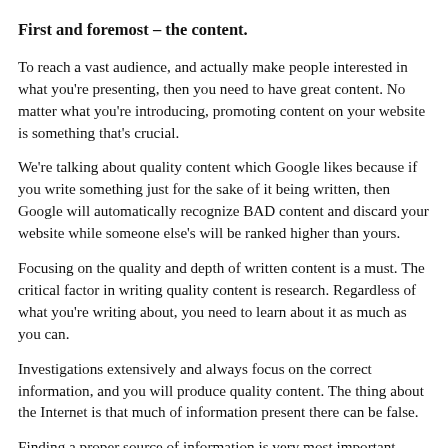First and foremost – the content.
To reach a vast audience, and actually make people interested in what you're presenting, then you need to have great content. No matter what you're introducing, promoting content on your website is something that's crucial.
We're talking about quality content which Google likes because if you write something just for the sake of it being written, then Google will automatically recognize BAD content and discard your website while someone else's will be ranked higher than yours.
Focusing on the quality and depth of written content is a must. The critical factor in writing quality content is research. Regardless of what you're writing about, you need to learn about it as much as you can.
Investigations extensively and always focus on the correct information, and you will produce quality content. The thing about the Internet is that much of information present there can be false.
Finding a proper source of information is very most important when it comes to research. So you can see there's a chain of